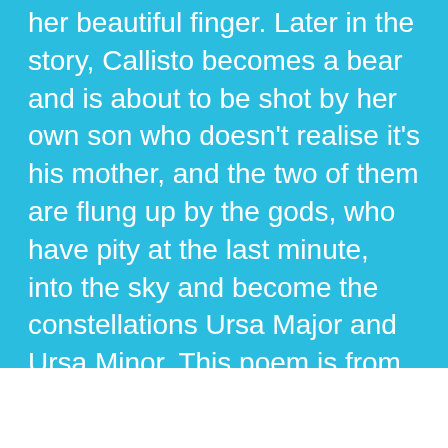her beautiful finger. Later in the story, Callisto becomes a bear and is about to be shot by her own son who doesn't realise it's his mother, and the two of them are flung up by the gods, who have pity at the last minute, into the sky and become the constellations Ursa Major and Ursa Minor. This poem is from Callisto's point of view, spoken as that constellation, but looking back at that moment when her pregnancy is revealed.